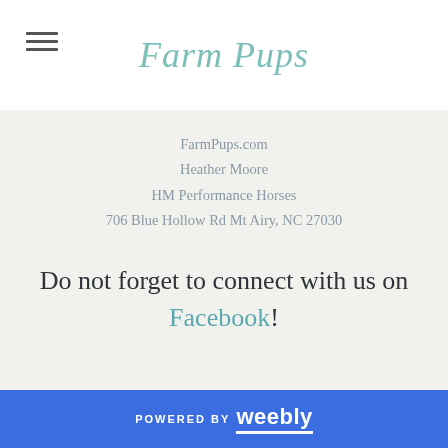Farm Pups
FarmPups.com
Heather Moore
HM Performance Horses
706 Blue Hollow Rd Mt Airy, NC 27030
Do not forget to connect with us on Facebook!
POWERED BY weebly